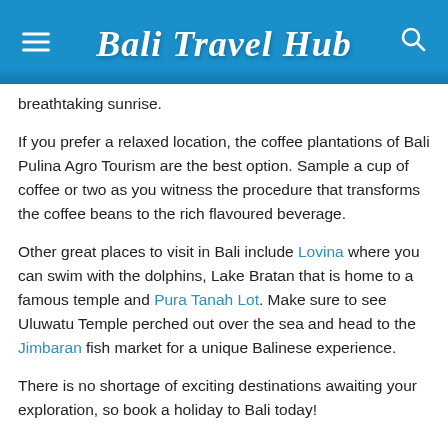Bali Travel Hub
breathtaking sunrise.
If you prefer a relaxed location, the coffee plantations of Bali Pulina Agro Tourism are the best option. Sample a cup of coffee or two as you witness the procedure that transforms the coffee beans to the rich flavoured beverage.
Other great places to visit in Bali include Lovina where you can swim with the dolphins, Lake Bratan that is home to a famous temple and Pura Tanah Lot. Make sure to see Uluwatu Temple perched out over the sea and head to the Jimbaran fish market for a unique Balinese experience.
There is no shortage of exciting destinations awaiting your exploration, so book a holiday to Bali today!